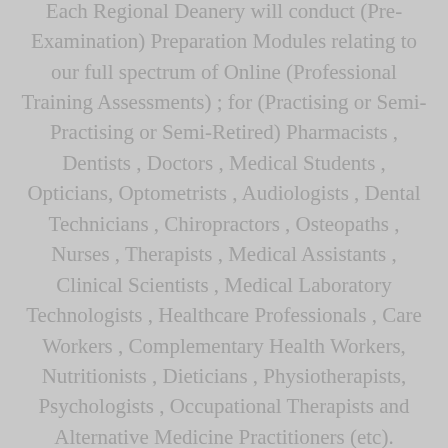Each Regional Deanery will conduct (Pre-Examination) Preparation Modules relating to our full spectrum of Online (Professional Training Assessments) ; for (Practising or Semi-Practising or Semi-Retired) Pharmacists , Dentists , Doctors , Medical Students , Opticians, Optometrists , Audiologists , Dental Technicians , Chiropractors , Osteopaths , Nurses , Therapists , Medical Assistants , Clinical Scientists , Medical Laboratory Technologists , Healthcare Professionals , Care Workers , Complementary Health Workers, Nutritionists , Dieticians , Physiotherapists, Psychologists , Occupational Therapists and Alternative Medicine Practitioners (etc).